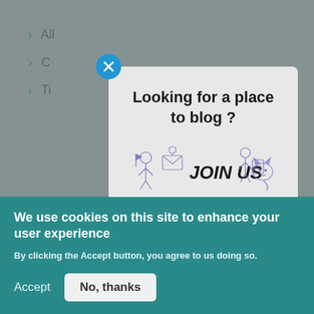[Figure (screenshot): Background website page showing navigation list items (All, C..., Ti...) and a RECENT section, partially obscured by modal overlay]
[Figure (screenshot): Modal dialog popup with close (X) button, title 'Looking for a place to blog?', JOIN US graphic with purple doodle illustrations, and text 'You can join the Dynamics Chronicles community to write']
Looking for a place to blog ?
[Figure (illustration): JOIN US text with purple hand-drawn doodle characters surrounding it]
You can join the Dynamics Chronicles community to write
We use cookies on this site to enhance your user experience
By clicking the Accept button, you agree to us doing so.
Accept
No, thanks